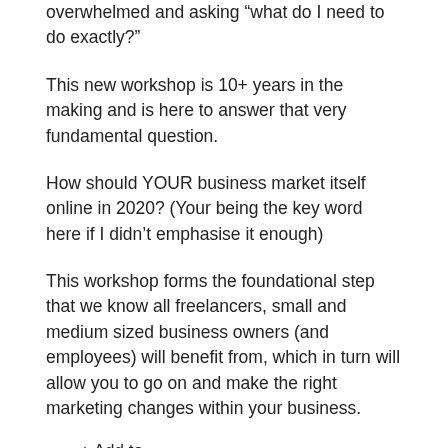overwhelmed and asking “what do I need to do exactly?”
This new workshop is 10+ years in the making and is here to answer that very fundamental question.
How should YOUR business market itself online in 2020? (Your being the key word here if I didn’t emphasise it enough)
This workshop forms the foundational step that we know all freelancers, small and medium sized business owners (and employees) will benefit from, which in turn will allow you to go on and make the right marketing changes within your business.
+ Add to Google Calendar   + Add to iCalendar